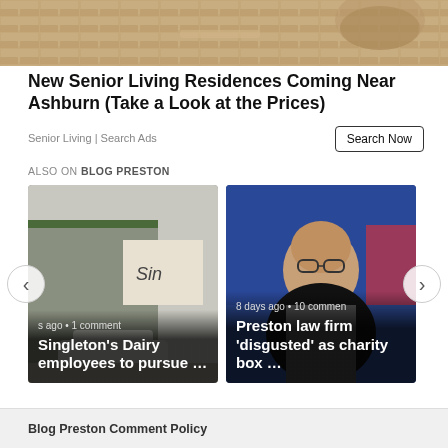[Figure (photo): Top banner image showing decorative outdoor stonework and brickwork in warm tones]
New Senior Living Residences Coming Near Ashburn (Take a Look at the Prices)
Senior Living | Search Ads
Search Now
ALSO ON BLOG PRESTON
[Figure (photo): Carousel card 1: building exterior with sign reading 'Sing', with a car parked in front. Caption: 'Singleton's Dairy employees to pursue …' with metadata 's ago • 1 comment']
[Figure (photo): Carousel card 2: close-up of older bald man with glasses in a store setting. Caption: 'Preston law firm disgusted as charity box …' with metadata '8 days ago • 10 commen']
Blog Preston Comment Policy